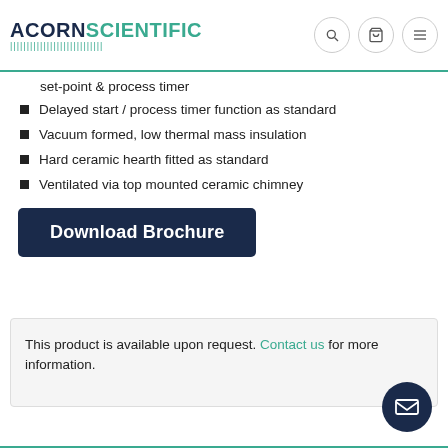ACORN SCIENTIFIC
set-point & process timer
Delayed start / process timer function as standard
Vacuum formed, low thermal mass insulation
Hard ceramic hearth fitted as standard
Ventilated via top mounted ceramic chimney
[Figure (other): Dark navy blue Download Brochure button]
This product is available upon request. Contact us for more information.